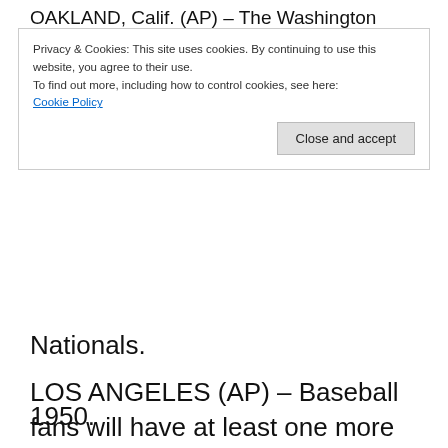OAKLAND, Calif. (AP) – The Washington
Privacy & Cookies: This site uses cookies. By continuing to use this website, you agree to their use.
To find out more, including how to control cookies, see here:
Cookie Policy
[Close and accept]
Nationals.
LOS ANGELES (AP) – Baseball fans will have at least one more season of enjoying Vin Scully behind the microphone on Dodgers broadcasts. He has announced that he plans on coming back for the 2014 season, which
1950.